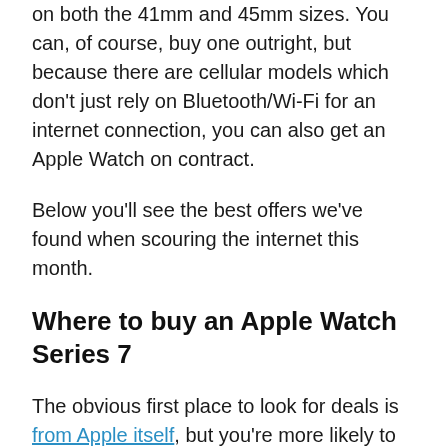on both the 41mm and 45mm sizes. You can, of course, buy one outright, but because there are cellular models which don't just rely on Bluetooth/Wi-Fi for an internet connection, you can also get an Apple Watch on contract.
Below you'll see the best offers we've found when scouring the internet this month.
Where to buy an Apple Watch Series 7
The obvious first place to look for deals is from Apple itself, but you're more likely to see discounts from retailers and mobile networks. The prices below (and stock status) were correct at the time of publishing: